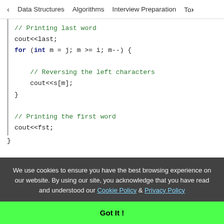< Data Structures   Algorithms   Interview Preparation   To>
[Figure (screenshot): C++ code snippet showing: // Printing last word, cout<<last;, for (int m = j; m >= i; m--) {, // Reversing the left characters, cout<<s[m];, }, // Printing the first word, cout<<fst;, }, int main() {]
We use cookies to ensure you have the best browsing experience on our website. By using our site, you acknowledge that you have read and understood our Cookie Policy & Privacy Policy
Got It !